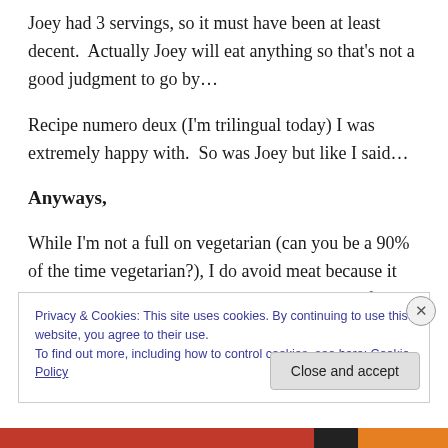Joey had 3 servings, so it must have been at least decent.  Actually Joey will eat anything so that's not a good judgment to go by…
Recipe numero deux (I'm trilingual today) I was extremely happy with.  So was Joey but like I said…
Anyways,
While I'm not a full on vegetarian (can you be a 90% of the time vegetarian?), I do avoid meat because it just don't appeal to me.  Plus I'm totally on the fence when it comes
Privacy & Cookies: This site uses cookies. By continuing to use this website, you agree to their use.
To find out more, including how to control cookies, see here: Cookie Policy
Close and accept